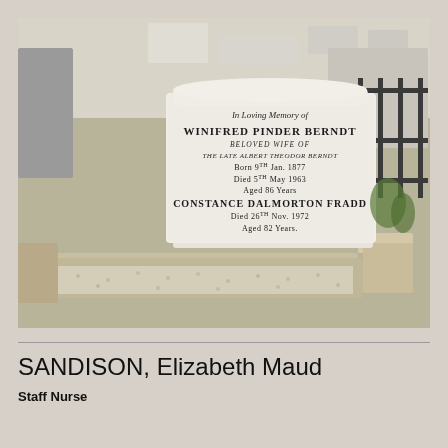[Figure (photo): Photograph of a white marble headstone in a cemetery. The inscription reads: 'In Loving Memory of WINIFRED PINDER BERNDT BELOVED WIFE OF THE LATE ALBERT THEODOR BERNDT Born 9th Jan. 1877 Died 5th May 1963 Aged 86 Years CONSTANCE DALMORTON FRADD Died 26th Nov. 1972 Aged 82 Years.' The grave is surrounded by gravel and other headstones are visible in the background.]
SANDISON, Elizabeth Maud
Staff Nurse